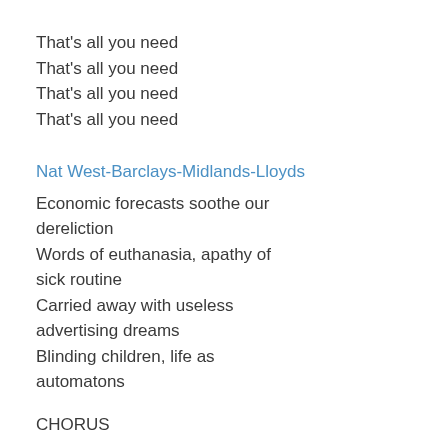That's all you need
That's all you need
That's all you need
That's all you need
Nat West-Barclays-Midlands-Lloyds
Economic forecasts soothe our dereliction
Words of euthanasia, apathy of sick routine
Carried away with useless advertising dreams
Blinding children, life as automatons
CHORUS
Nat West, Nat West-Barclays-Midlands-Lloyds
Black horse apocalypse
Death sanitised through credit